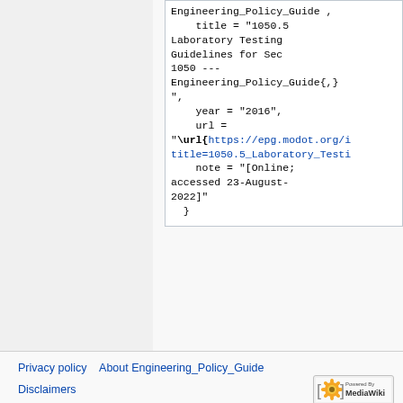Engineering_Policy_Guide ,
    title = "1050.5 Laboratory Testing Guidelines for Sec 1050 --- Engineering_Policy_Guide{,}",
    year = "2016",
    url = "\url{https://epg.modot.org/i...title=1050.5_Laboratory_Testi...
    note = "[Online; accessed 23-August-2022]"
  }
Privacy policy   About Engineering_Policy_Guide   Disclaimers